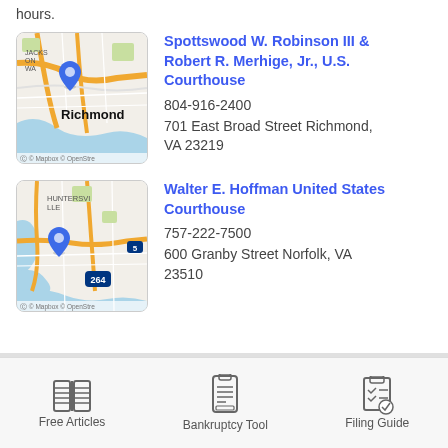hours.
[Figure (map): Map thumbnail showing Richmond, VA area with blue location pin and street map]
Spottswood W. Robinson III & Robert R. Merhige, Jr., U.S. Courthouse
804-916-2400
701 East Broad Street Richmond, VA 23219
[Figure (map): Map thumbnail showing Norfolk/Huntersville, VA area with blue location pin, interstate 264, and street map]
Walter E. Hoffman United States Courthouse
757-222-7500
600 Granby Street Norfolk, VA 23510
Free Articles  Bankruptcy Tool  Filing Guide